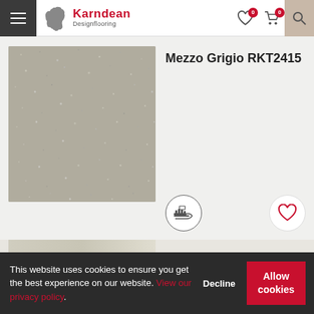Karndean Designflooring — navigation header with hamburger menu, wishlist (0), cart (0), search
Mezzo Grigio RKT2415
[Figure (photo): Close-up photo of Mezzo Grigio RKT2415 flooring tile — grey terrazzo-style surface with small white and dark speckles]
[Figure (illustration): Sample request button icon (hand with flooring sample) in a circle]
[Figure (illustration): Wishlist/heart icon in a circle]
[Figure (photo): Partial second product image visible at bottom of page]
This website uses cookies to ensure you get the best experience on our website. View our privacy policy.
Decline
Allow cookies